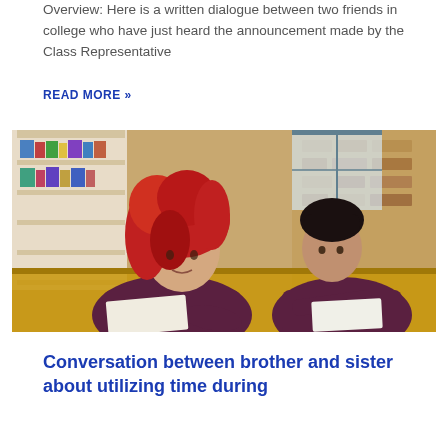Overview: Here is a written dialogue between two friends in college who have just heard the announcement made by the Class Representative
READ MORE »
[Figure (photo): Two college students, a woman with long red curly hair and a man with dark hair, both wearing dark maroon shirts, writing/studying at desks in a classroom with shelves in the background]
Conversation between brother and sister about utilizing time during